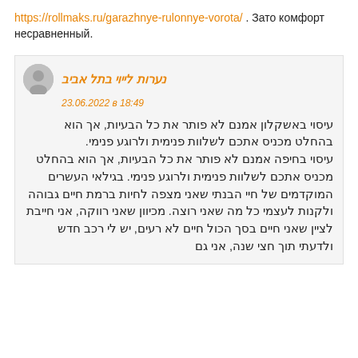https://rollmaks.ru/garazhnye-rulonnye-vorota/ . Зато комфорт несравненный.
נערות לייוי בתל אביב
23.06.2022 в 18:49
עיסוי באשקלון אמנם לא פותר את כל הבעיות, אך הוא בהחלט מכניס אתכם לשלוות פנימית ולרוגע פנימי.
עיסוי בחיפה אמנם לא פותר את כל הבעיות, אך הוא בהחלט מכניס אתכם לשלוות פנימית ולרוגע פנימי. בגילאי העשרים המוקדמים של חיי הבנתי שאני מצפה לחיות ברמת חיים גבוהה ולקנות לעצמי כל מה שאני רוצה. מכיוון שאני רווקה, אני חייבת לציין שאני חיים בסך הכול חיים לא רעים, יש לי רכב חדש ולדעתי תוך חצי שנה, אני גם